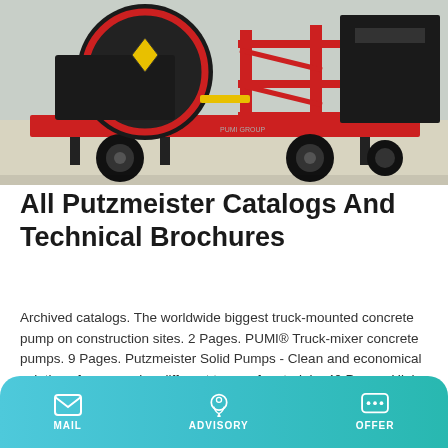[Figure (photo): Industrial truck-mounted concrete pump equipment on a red flatbed trailer, shown in a warehouse/construction setting]
All Putzmeister Catalogs And Technical Brochures
Archived catalogs. The worldwide biggest truck-mounted concrete pump on construction sites. 2 Pages. PUMI® Truck-mixer concrete pumps. 9 Pages. Putzmeister Solid Pumps - Clean and economical solutions for conveying different types of materials. 40 Pages. High density solids pumps KOS. 8 Pages.
Learn More
MAIL   ADVISORY   OFFER